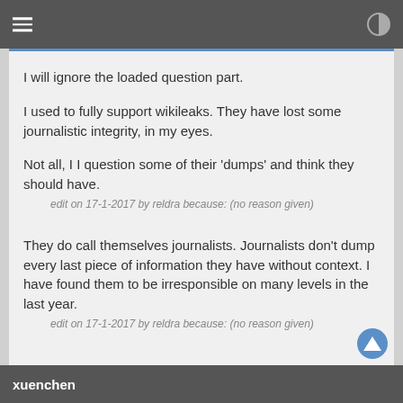I will ignore the loaded question part.
I used to fully support wikileaks. They have lost some journalistic integrity, in my eyes.
Not all, I I question some of their 'dumps' and think they should have.
edit on 17-1-2017 by reldra because: (no reason given)
They do call themselves journalists. Journalists don't dump every last piece of information they have without context. I have found them to be irresponsible on many levels in the last year.
edit on 17-1-2017 by reldra because: (no reason given)
xuenchen